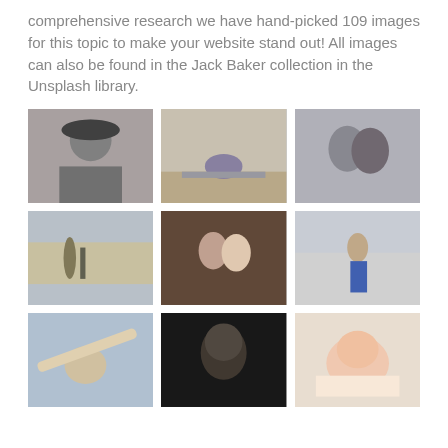comprehensive research we have hand-picked 109 images for this topic to make your website stand out! All images can also be found in the Jack Baker collection in the Unsplash library.
[Figure (photo): Black and white portrait of a person wearing a wide-brim hat with arms crossed]
[Figure (photo): Man sitting on the ground stretching on a rooftop or concrete surface]
[Figure (photo): Close-up of a couple hugging, black and white tones]
[Figure (photo): Aerial or ground-level view of a winding path through a dry reed field]
[Figure (photo): Couple about to kiss against a brick wall background]
[Figure (photo): Man jumping or running near a wind turbine outdoors]
[Figure (photo): Woman in sunglasses near water raising fabric or cloth overhead]
[Figure (photo): Dark portrait of a man with a cigarette, low-key lighting]
[Figure (photo): Sleeping baby in a white onesie]